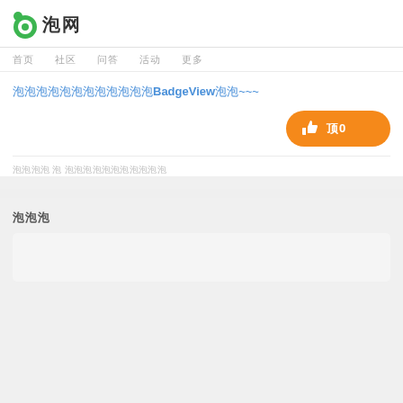泡网
首页  社区  问答  活动  更多
泡泡泡泡泡泡泡泡泡泡泡泡BadgeView泡泡~~~
[Figure (other): Orange like/thumbs-up button with thumbs up icon and text 顶0]
泡泡泡泡 泡 泡泡泡泡泡泡泡泡泡泡泡
泡泡泡
[Figure (other): Comment input box area, light gray background]